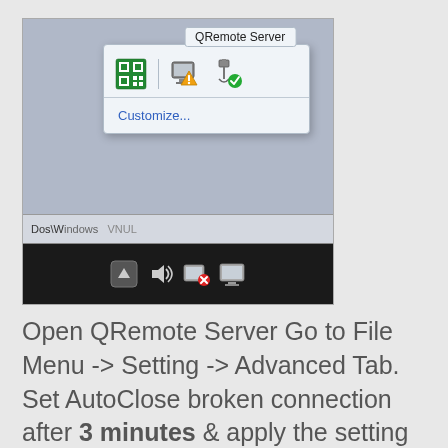[Figure (screenshot): Windows taskbar screenshot showing a tooltip popup labeled 'QRemote Server' with three system tray icons and a 'Customize...' link. Below is the Windows taskbar with system tray icons including arrow, volume, and other icons.]
Open QRemote Server Go to File Menu -> Setting -> Advanced Tab. Set AutoClose broken connection after 3 minutes & apply the setting by clicking Apply button.